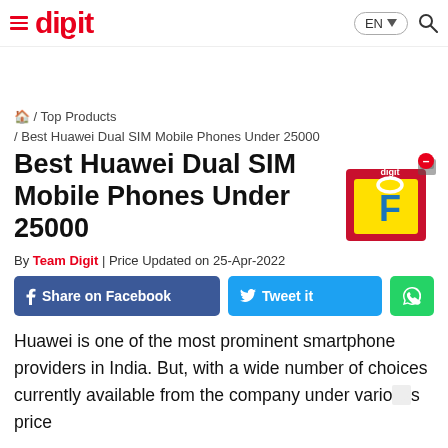≡ digit  EN  🔍
🏠 / Top Products / Best Huawei Dual SIM Mobile Phones Under 25000
Best Huawei Dual SIM Mobile Phones Under 25000
By Team Digit | Price Updated on 25-Apr-2022
[Figure (illustration): Digit branded shopping box with Flipkart logo, red cube decoration on top-right corner]
Share on Facebook  Tweet it  [WhatsApp]
Huawei is one of the most prominent smartphone providers in India. But, with a wide number of choices currently available from the company under various price